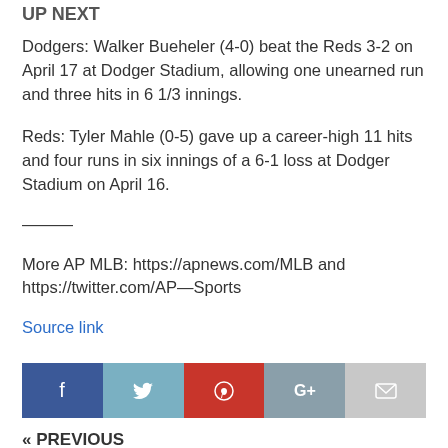UP NEXT
Dodgers: Walker Bueheler (4-0) beat the Reds 3-2 on April 17 at Dodger Stadium, allowing one unearned run and three hits in 6 1/3 innings.
Reds: Tyler Mahle (0-5) gave up a career-high 11 hits and four runs in six innings of a 6-1 loss at Dodger Stadium on April 16.
———
More AP MLB: https://apnews.com/MLB and https://twitter.com/AP—Sports
Source link
[Figure (other): Social media share buttons: Facebook, Twitter, Pinterest, Google+, Email]
« PREVIOUS